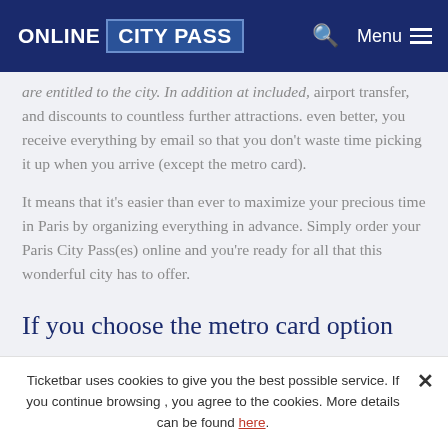ONLINE CITY PASS | Menu
…are entitled to the city. In addition at included, airport transfer, and discounts to countless further attractions. even better, you receive everything by email so that you don't waste time picking it up when you arrive (except the metro card).
It means that it's easier than ever to maximize your precious time in Paris by organizing everything in advance. Simply order your Paris City Pass(es) online and you're ready for all that this wonderful city has to offer.
If you choose the metro card option
Ticketbar uses cookies to give you the best possible service. If you continue browsing , you agree to the cookies. More details can be found here.